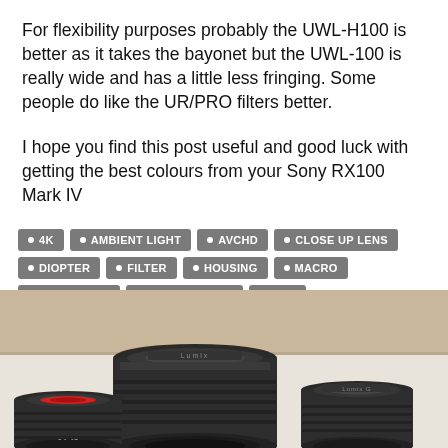For flexibility purposes probably the UWL-H100 is better as it takes the bayonet but the UWL-100 is really wide and has a little less fringing. Some people do like the UR/PRO filters better.
I hope you find this post useful and good luck with getting the best colours from your Sony RX100 Mark IV
4K
AMBIENT LIGHT
AVCHD
CLOSE UP LENS
DIOPTER
FILTER
HOUSING
MACRO
SONY RX100
STABILIZATION
TIPS
UNDERWATER VIDEO
WIDE ANGLE
[Figure (photo): Three camera lenses (Lumix branded) sitting on a table. The leftmost lens is large and tall, the middle lens is medium-sized, and the rightmost lens is smaller. One lens shows label '14-42'.]